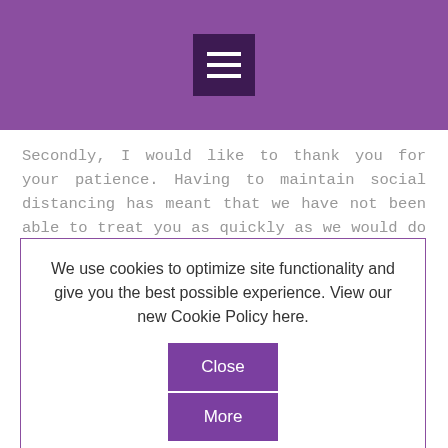[Figure (other): Purple navigation header bar with hamburger menu icon (three white horizontal lines on dark purple square background)]
Secondly, I would like to thank you for your patience. Having to maintain social distancing has meant that we have not been able to treat you as quickly as we would do under normal circumstances. At the same time, we would like you to be aware that we continue to dedicate the time you need so, please be just as generous when we
We use cookies to optimize site functionality and give you the best possible experience. View our new Cookie Policy here.
as and you are at that you meet, and we deal with your concerns, that there may be another person waiting
Finally, we’d like to give you some good news. This pharmacy has participated in a national pilot project